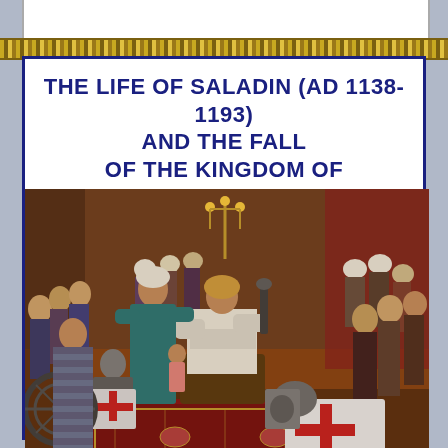THE LIFE OF SALADIN (AD 1138-1193) AND THE FALL OF THE KINGDOM OF JERUSALEM
[Figure (illustration): A detailed historical painting depicting a medieval court scene, showing Saladin seated on a throne surrounded by turbaned courtiers, while Crusader knights in white surcoats with red crosses bow or kneel before him. The scene features ornate carpets, weapons, and period-appropriate clothing from the 12th century Middle East and Crusader era.]